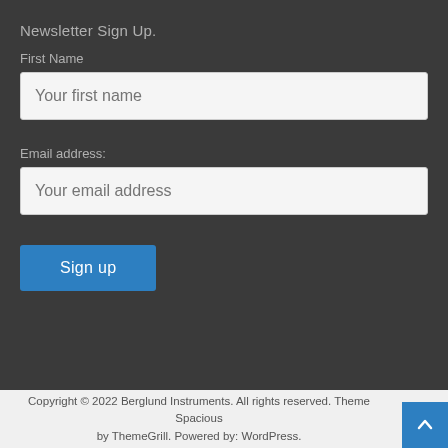Newsletter Sign Up.
First Name
Your first name
Email address:
Your email address
Sign up
Copyright © 2022 Berglund Instruments. All rights reserved. Theme Spacious by ThemeGrill. Powered by: WordPress.